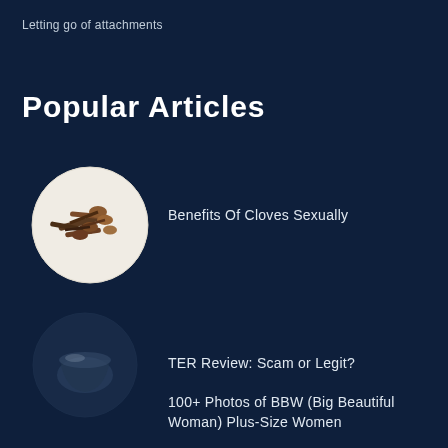Letting go of attachments
Popular Articles
[Figure (photo): Circular thumbnail image of cloves (spice) on white background]
Benefits Of Cloves Sexually
[Figure (photo): Circular thumbnail image, dark semi-transparent container or cup shape]
TER Review: Scam or Legit?
100+ Photos of BBW (Big Beautiful Woman) Plus-Size Women